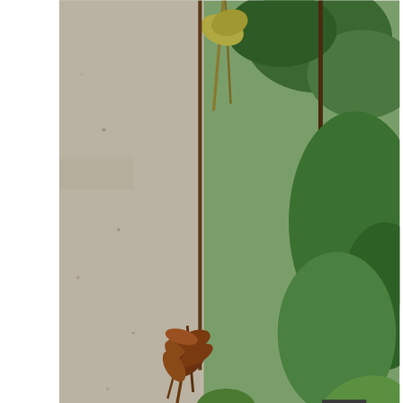[Figure (photo): Garden photo showing Salvia africana-lutea plant with reddish-brown leaves in a container, surrounded by gravel path and green foliage. Tall stakes visible. Various potted plants in background.]
Salvia africana-lutea in a container
The above very cool brown Salvia has leaves that smell, to me, a bit of root be- brought it through winter in a cold greenhouse before.
In the background above, the fabulously tall Thalictrum 'Elin' from Dan Hinkley
[Figure (photo): Garden photo showing yellow flowers (possibly Rudbeckia or similar) with large green tropical-looking leaves in the background.]